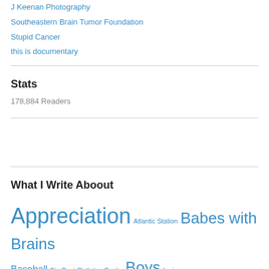J Keenan Photography
Southeastern Brain Tumor Foundation
Stupid Cancer
this is documentary
Stats
178,884 Readers
What I Write Aboout
Appreciation  Atlantic Station  Babes with Brains  Baseball  Big Papi  Birthday  Books  Boys  brain cancer  Brain